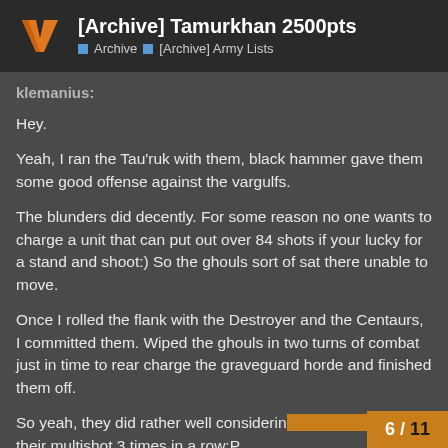[Archive] Tamurkhan 2500pts — Archive > [Archive] Army Lists
klemanius:
Hey.
Yeah, I ran the Tau'ruk with them, black hammer gave them some good offense against the vargulfs.
The blunders did decently. For some reason no one wants to charge a unit that can put out over 84 shots if your lucky for a stand and shoot:) So the ghouls sort of sat there unable to move.
Once I rolled the flank with the Destroyer and the Centaurs, I committed them. Wiped the ghouls in two turns of combat just in time to rear charge the graveguard horde and finished them off.
So yeah, they did rather well considerin their multishot 3 times in a row:P
6 / 11